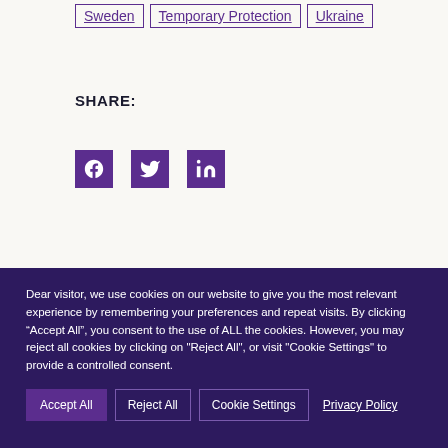Sweden | Temporary Protection | Ukraine
SHARE:
[Figure (infographic): Social share icons: Facebook, Twitter, LinkedIn in purple square boxes]
Dear visitor, we use cookies on our website to give you the most relevant experience by remembering your preferences and repeat visits. By clicking “Accept All”, you consent to the use of ALL the cookies. However, you may reject all cookies by clicking on "Reject All", or visit "Cookie Settings" to provide a controlled consent.
Accept All | Reject All | Cookie Settings | Privacy Policy